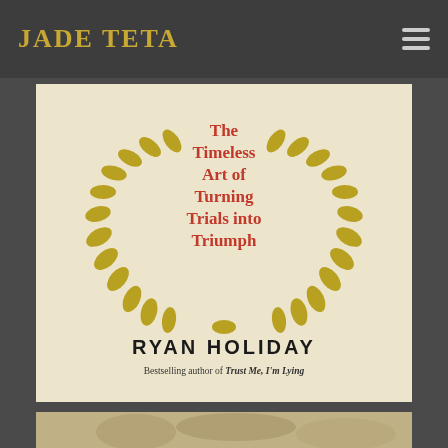Jade Teta
[Figure (illustration): Book cover: 'The Timeless Art of Turning Trials into Triumph' by Ryan Holiday, bestselling author of Trust Me, I'm Lying. Features a gold laurel wreath on a cream background.]
[Figure (photo): Partial image visible at bottom of page, appears to be a historical or artistic photograph in sepia tones.]